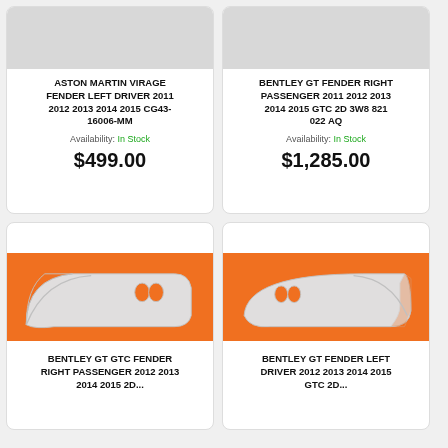[Figure (photo): Top portion of a car fender part on white/grey background]
ASTON MARTIN VIRAGE FENDER LEFT DRIVER 2011 2012 2013 2014 2015 CG43-16006-MM
Availability: In Stock
$499.00
[Figure (photo): Top portion of a car fender part on white/grey background]
BENTLEY GT FENDER RIGHT PASSENGER 2011 2012 2013 2014 2015 GTC 2D 3W8 821 022 AQ
Availability: In Stock
$1,285.00
[Figure (photo): White car fender part on orange background]
BENTLEY GT GTC FENDER RIGHT PASSENGER 2012 2013 2014 2015 2D...
[Figure (photo): White car fender part on orange background]
BENTLEY GT FENDER LEFT DRIVER 2012 2013 2014 2015 GTC 2D...